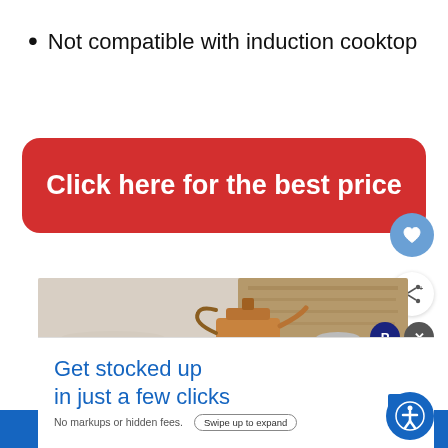Not compatible with induction cooktop
Click here for the best price
[Figure (photo): Photo of cookware and plates on a wooden shelf, with copper pots and a rustic wooden board background]
WHAT'S NEXT → All Clad Cookware...
Get stocked up in just a few clicks
No markups or hidden fees.
Swipe up to expand